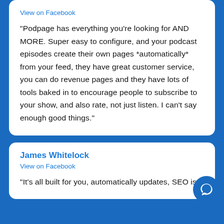View on Facebook
"Podpage has everything you're looking for AND MORE. Super easy to configure, and your podcast episodes create their own pages *automatically* from your feed, they have great customer service, you can do revenue pages and they have lots of tools baked in to encourage people to subscribe to your show, and also rate, not just listen. I can't say enough good things."
James Whitelock
View on Facebook
"It's all built for you, automatically updates, SEO is